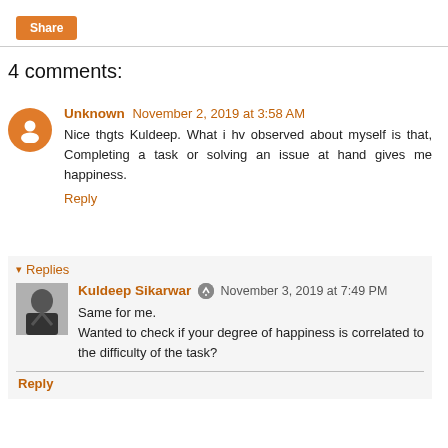Share
4 comments:
Unknown November 2, 2019 at 3:58 AM
Nice thgts Kuldeep. What i hv observed about myself is that, Completing a task or solving an issue at hand gives me happiness.
Reply
▾ Replies
Kuldeep Sikarwar November 3, 2019 at 7:49 PM
Same for me.
Wanted to check if your degree of happiness is correlated to the difficulty of the task?
Reply